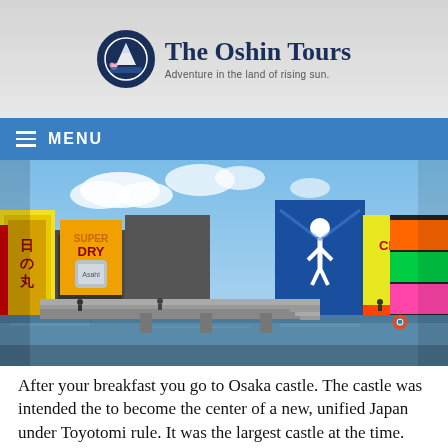The Oshin Tours — Adventure in the land of rising sun.
[Figure (screenshot): Navigation menu bar with hamburger icon and MENU text on blue background]
[Figure (photo): Dotonbori canal area in Osaka, Japan with colorful billboards, signs, a bridge, and canal water]
After your breakfast you go to Osaka castle. The castle was intended the to become the center of a new, unified Japan under Toyotomi rule. It was the largest castle at the time. The entire Osaka Castle Park covers about 2 kilometers with lots of green